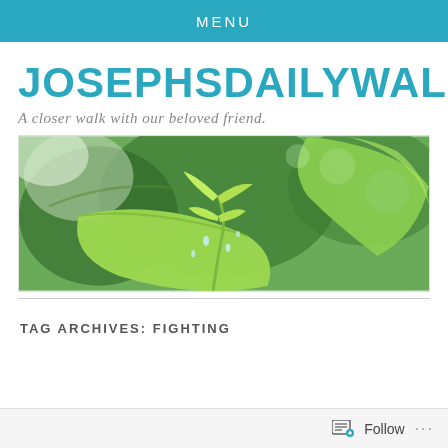MENU
JOSEPHSDAILYWALKWITHJ
A closer walk with our beloved friend.
[Figure (photo): Close-up photo of green leaves and a small plant sprout with water droplets, blurred background of trees]
TAG ARCHIVES: FIGHTING
Follow ...